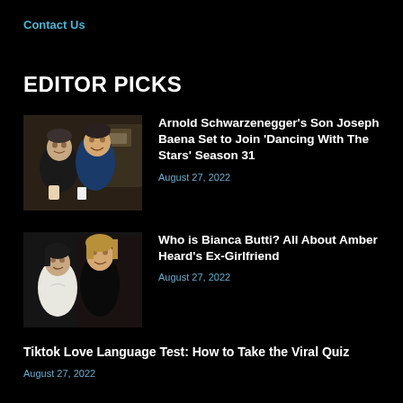Contact Us
EDITOR PICKS
[Figure (photo): Photo of Arnold Schwarzenegger and his son Joseph Baena together smiling]
Arnold Schwarzenegger's Son Joseph Baena Set to Join 'Dancing With The Stars' Season 31
August 27, 2022
[Figure (photo): Photo of two women standing together, one in white and one in black outfit]
Who is Bianca Butti? All About Amber Heard's Ex-Girlfriend
August 27, 2022
Tiktok Love Language Test: How to Take the Viral Quiz
August 27, 2022